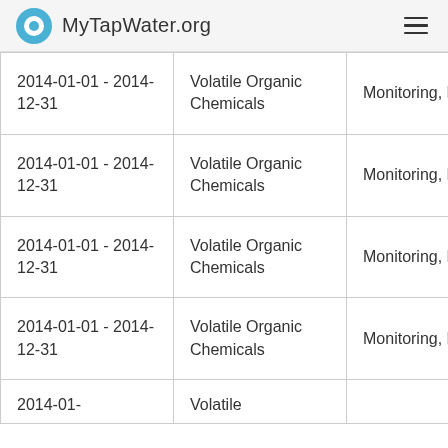MyTapWater.org
| 2014-01-01 - 2014-12-31 | Volatile Organic Chemicals | Monitoring, Regular |
| 2014-01-01 - 2014-12-31 | Volatile Organic Chemicals | Monitoring, Regular |
| 2014-01-01 - 2014-12-31 | Volatile Organic Chemicals | Monitoring, Regular |
| 2014-01-01 - 2014-12-31 | Volatile Organic Chemicals | Monitoring, Regular |
| 2014-01-... | Volatile... |  |